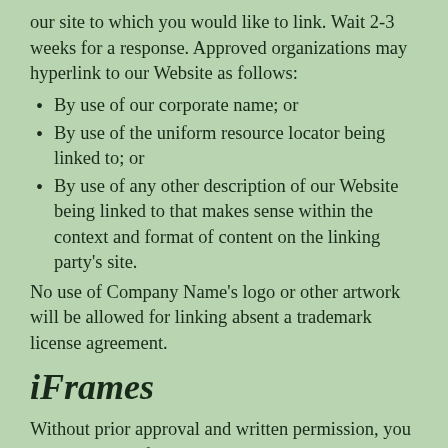our site to which you would like to link. Wait 2-3 weeks for a response. Approved organizations may hyperlink to our Website as follows:
By use of our corporate name; or
By use of the uniform resource locator being linked to; or
By use of any other description of our Website being linked to that makes sense within the context and format of content on the linking party's site.
No use of Company Name's logo or other artwork will be allowed for linking absent a trademark license agreement.
iFrames
Without prior approval and written permission, you may not create frames around our Website that alter in